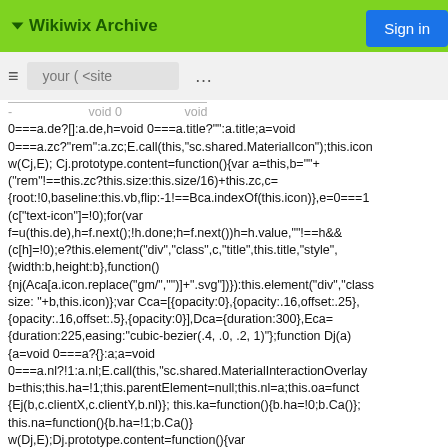Wikiwix Archive
Sign in
0===a.de?[]:a.de,h=void 0===a.title?"":a.title;a=void 0===a.zc?"rem":a.zc;E.call(this,"sc.shared.MaterialIcon");this.icon w(Cj,E); Cj.prototype.content=function(){var a=this,b=""+("rem"!==this.zc?this.size:this.size/16)+this.zc,c={root:!0,baseline:this.vb,flip:-1!==Bca.indexOf(this.icon)},e=0===1 (c["text-icon"]=!0);for(var f=u(this.de),h=f.next();!h.done;h=f.next())h=h.value,""!==h&& (c[h]=!0);e?this.element("div","class",c,"title",this.title,"style", {width:b,height:b},function() {nj(Aca[a.icon.replace("gm/","")]+".svg"])}) :this.element("div","class size: "+b,this.icon)};var Cca=[{opacity:0},{opacity:.16,offset:.25},{opacity:.16,offset:.5},{opacity:0}],Dca={duration:300},Eca={duration:225,easing:"cubic-bezier(.4, .0, .2, 1)"};function Dj(a){a=void 0===a?{}:a;a=void 0===a.nl?!1:a.nl;E.call(this,"sc.shared.MaterialInteractionOverlay b=this;this.ha=!1;this.parentElement=null;this.nl=a;this.oa=funct {Ej(b,c.clientX,c.clientY,b.nl)}; this.ka=function(){b.ha=!0;b.Ca()}; this.na=function(){b.ha=!1;b.Ca()} w(Dj,E);Dj.prototype.content=function(){var